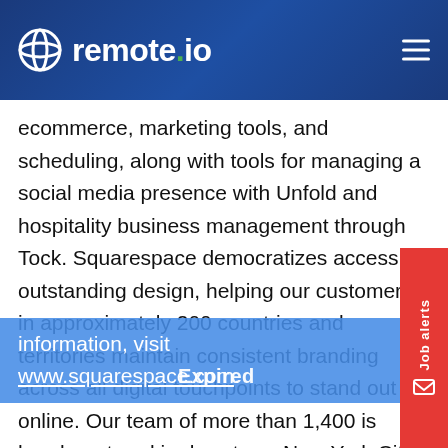remote.io
ecommerce, marketing tools, and scheduling, along with tools for managing a social media presence with Unfold and hospitality business management through Tock. Squarespace democratizes access to outstanding design, helping our customers in approximately 200 countries and territories maintain consistent branding across all digital touchpoints to stand out online. Our team of more than 1,400 is headquartered in downtown New York City, with offices in Dublin, Ireland, Portland, Oregon, Los Angeles, California and Chicago, Illinois. For more information, visit www.squarespace.com.